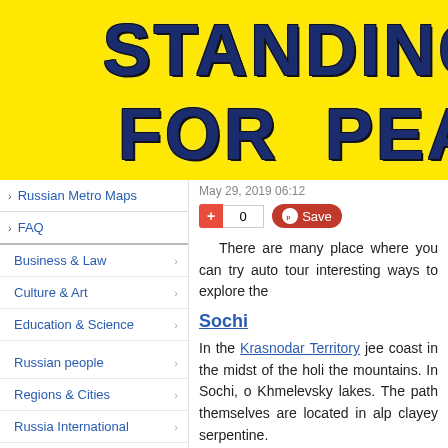STANDING FOR PEA
Russian Metro Maps
FAQ
Business & Law
Culture & Art
Education & Science
Russian people
Regions & Cities
Russia International
Society & Politics
Sports
May 29, 2019 06:12
There are many place where you can try auto tour interesting ways to explore the
Sochi
In the Krasnodar Territory jee coast in the midst of the holi the mountains. In Sochi, o Khmelevsky lakes. The path themselves are located in alp clayey serpentine.